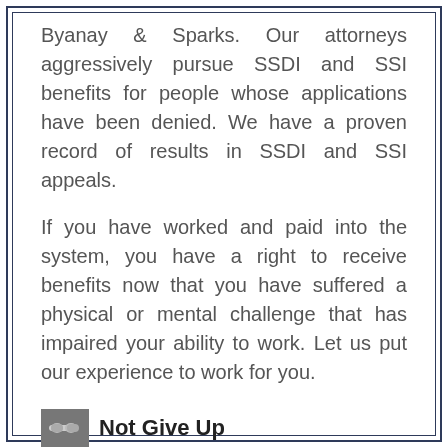Byanay & Sparks. Our attorneys aggressively pursue SSDI and SSI benefits for people whose applications have been denied. We have a proven record of results in SSDI and SSI appeals.
If you have worked and paid into the system, you have a right to receive benefits now that you have suffered a physical or mental challenge that has impaired your ability to work. Let us put our experience to work for you.
Not Give Up